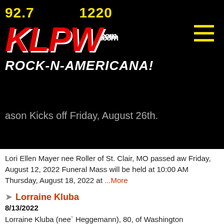[Figure (logo): KLPW radio station logo with frequencies 92.7 and 1220, red KLPW.com text, white ROCK-N-AMERICANA! tagline on black background]
ason Kicks off Friday, August 26th.
Lori Ellen Mayer nee Roller of St. Clair, MO passed aw Friday, August 12, 2022 Funeral Mass will be held at 10:00 AM Thursday, August 18, 2022 at ...More
Lorraine Kluba
8/13/2022
Lorraine Kluba (nee` Heggemann), 80, of Washington